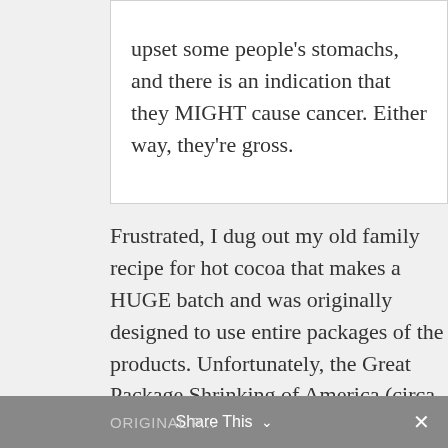upset some people's stomachs, and there is an indication that they MIGHT cause cancer. Either way, they're gross.
Frustrated, I dug out my old family recipe for hot cocoa that makes a HUGE batch and was originally designed to use entire packages of the products. Unfortunately, the Great Package Shrinking of America (circa 2008) meant that I needed to adjust the recipe.
ORIGINAL P... Share This ✕